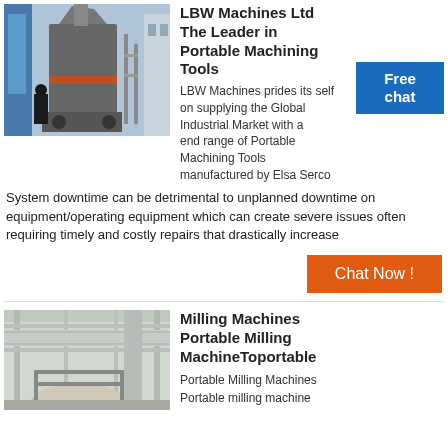[Figure (photo): Industrial milling machine in a factory setting, large cylindrical vessel, worker inspecting equipment]
LBW Machines Ltd The Leader in Portable Machining Tools
LBW Machines prides its self on supplying the Global Industrial Market with a end range of Portable Machining Tools manufactured by Elsa Serco
System downtime can be detrimental to unplanned downtime on equipment/operating equipment which can create severe issues often requiring timely and costly repairs that drastically increase
[Figure (photo): Industrial milling machine facility interior with pipes and scaffolding]
Milling Machines Portable Milling MachineToportable
Portable Milling Machines Portable milling machine